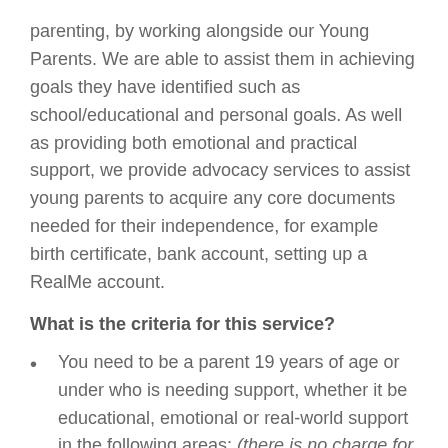parenting, by working alongside our Young Parents. We are able to assist them in achieving goals they have identified such as school/educational and personal goals. As well as providing both emotional and practical support, we provide advocacy services to assist young parents to acquire any core documents needed for their independence, for example birth certificate, bank account, setting up a RealMe account.
What is the criteria for this service?
You need to be a parent 19 years of age or under who is needing support, whether it be educational, emotional or real-world support in the following areas: (there is no charge for this service)
Education – support in remaining in school, re-enrolment in school, correspondence school – Te Kura Pounamu